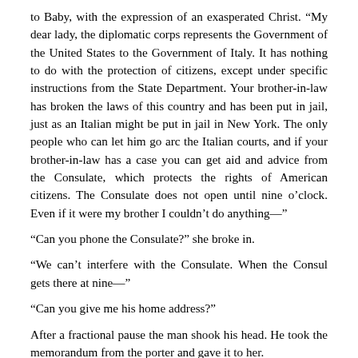to Baby, with the expression of an exasperated Christ. “My dear lady, the diplomatic corps represents the Government of the United States to the Government of Italy. It has nothing to do with the protection of citizens, except under specific instructions from the State Department. Your brother-in-law has broken the laws of this country and has been put in jail, just as an Italian might be put in jail in New York. The only people who can let him go arc the Italian courts, and if your brother-in-law has a case you can get aid and advice from the Consulate, which protects the rights of American citizens. The Consulate does not open until nine o’clock. Even if it were my brother I couldn’t do anything—”
“Can you phone the Consulate?” she broke in.
“We can’t interfere with the Consulate. When the Consul gets there at nine—”
“Can you give me his home address?”
After a fractional pause the man shook his head. He took the memorandum from the porter and gave it to her.
“Now I’ll ask you to excuse me.”
He had manoeuvred her to the door; for an instant the